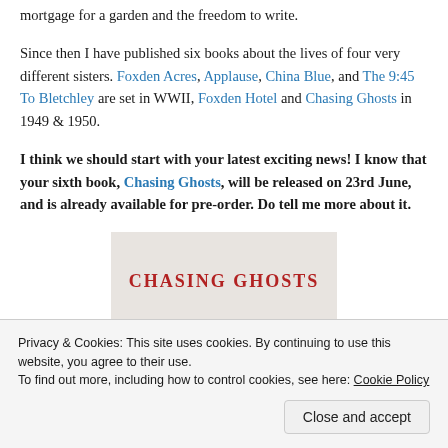mortgage for a garden and the freedom to write.
Since then I have published six books about the lives of four very different sisters. Foxden Acres, Applause, China Blue, and The 9:45 To Bletchley are set in WWII, Foxden Hotel and Chasing Ghosts in 1949 & 1950.
I think we should start with your latest exciting news! I know that your sixth book, Chasing Ghosts, will be released on 23rd June, and is already available for pre-order. Do tell me more about it.
[Figure (photo): Book cover image for 'Chasing Ghosts' showing the title text in red letters on a light background]
Privacy & Cookies: This site uses cookies. By continuing to use this website, you agree to their use.
To find out more, including how to control cookies, see here: Cookie Policy